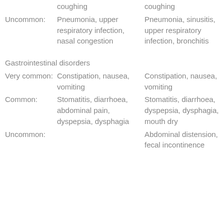| Frequency | Column 1 | Column 2 |
| --- | --- | --- |
|  | coughing | coughing |
| Uncommon: | Pneumonia, upper respiratory infection, nasal congestion | Pneumonia, sinusitis, upper respiratory infection, bronchitis |
| Gastrointestinal disorders |  |  |
| Very common: | Constipation, nausea, vomiting | Constipation, nausea, vomiting |
| Common: | Stomatitis, diarrhoea, abdominal pain, dyspepsia, dysphagia | Stomatitis, diarrhoea, dyspepsia, dysphagia, mouth dry |
| Uncommon: |  | Abdominal distension, fecal incontinence |